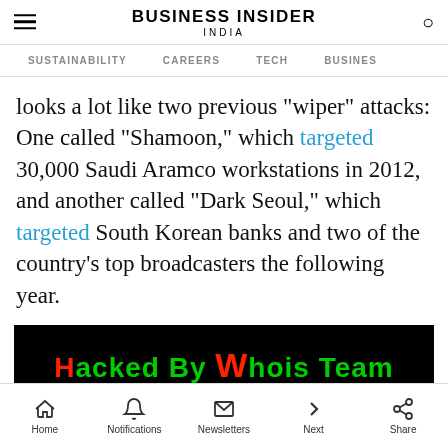BUSINESS INSIDER INDIA
SUSTAINABILITY  CAREERS  TECH  BUSINESS
looks a lot like two previous "wiper" attacks: One called "Shamoon," which targeted 30,000 Saudi Aramco workstations in 2012, and another called "Dark Seoul," which targeted South Korean banks and two of the country's top broadcasters the following year.
[Figure (photo): Black background banner reading 'Hacked By Whois Team' in red and green text, with Guy Fawkes mask faces visible at the bottom.]
Home  Notifications  Newsletters  Next  Share